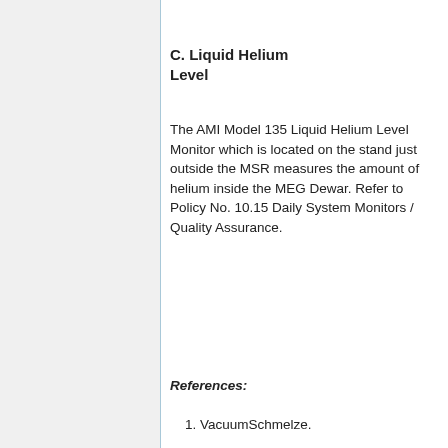C. Liquid Helium Level
The AMI Model 135 Liquid Helium Level Monitor which is located on the stand just outside the MSR measures the amount of helium inside the MEG Dewar. Refer to Policy No. 10.15 Daily System Monitors / Quality Assurance.
References:
1. VacuumSchmelze.